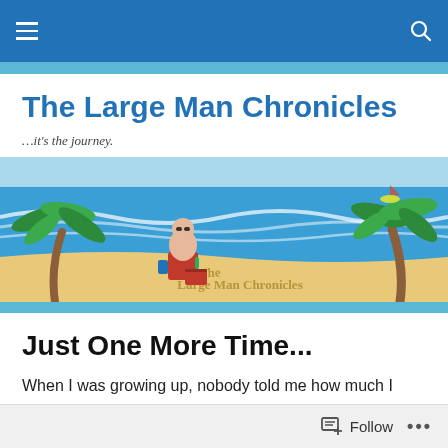Navigation bar with menu and search icons
The Large Man Chronicles
…it's the journey.
[Figure (illustration): Beach scene illustration showing a large man sitting in a red chair under palm trees by the ocean, with 'The Large Man Chronicles' written in the sand]
Just One More Time...
When I was growing up, nobody told me how much I
Follow ...